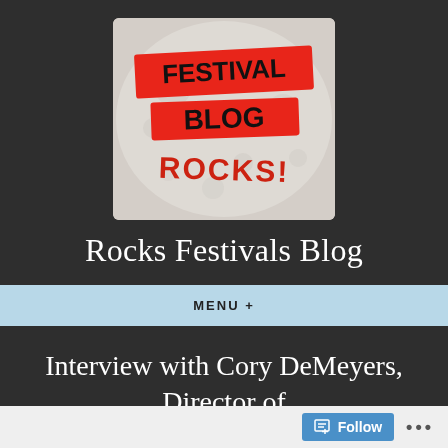[Figure (logo): Festival Blog Rocks! logo — a round foamy surface with two red banner stickers reading 'FESTIVAL BLOG' in black bold text, and 'ROCKS!' written in red below]
Rocks Festivals Blog
MENU +
Interview with Cory DeMeyers, Director of 'DANNY BOY'
Follow ...